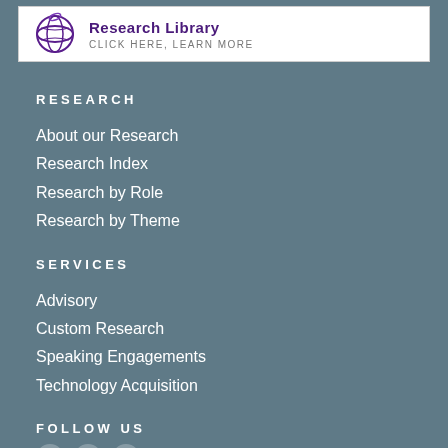[Figure (logo): Research Library banner with logo, bold purple title 'Research Library' and subtitle 'CLICK HERE, LEARN MORE']
RESEARCH
About our Research
Research Index
Research by Role
Research by Theme
SERVICES
Advisory
Custom Research
Speaking Engagements
Technology Acquisition
FOLLOW US
[Figure (other): Three social media icon circles at bottom]